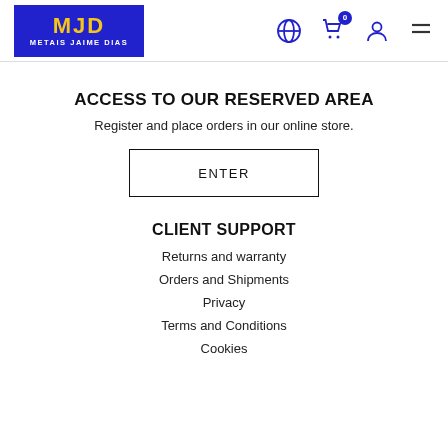MJD METAIS JAIME DIAS — navigation header with globe, cart (0), user, menu icons
ACCESS TO OUR RESERVED AREA
Register and place orders in our online store.
ENTER
CLIENT SUPPORT
Returns and warranty
Orders and Shipments
Privacy
Terms and Conditions
Cookies